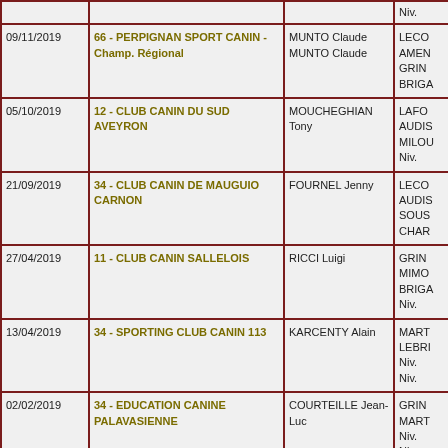| Date | Club | Judge | Results |
| --- | --- | --- | --- |
|  |  |  | Niv. |
| 09/11/2019 | 66 - PERPIGNAN SPORT CANIN - Champ. Régional | MUNTO Claude
MUNTO Claude | LECO
AMEN
GRIN
BRIGA |
| 05/10/2019 | 12 - CLUB CANIN DU SUD AVEYRON | MOUCHEGHIAN Tony | LAFO
AUDIS
MILOU
Niv. |
| 21/09/2019 | 34 - CLUB CANIN DE MAUGUIO CARNON | FOURNEL Jenny | LECO
AUDIS
SOUS
CHAR |
| 27/04/2019 | 11 - CLUB CANIN SALLELOIS | RICCI Luigi | GRIN
MIMO
BRIGA
Niv. |
| 13/04/2019 | 34 - SPORTING CLUB CANIN 113 | KARCENTY Alain | MART
LEBRI
Niv.
Niv. |
| 02/02/2019 | 34 - EDUCATION CANINE PALAVASIENNE | COURTEILLE Jean-Luc | GRIN
MART
Niv.
Niv. |
| 20/01/2018 | 34 - EDUCATION CANINE PALAVASIENNE | MOUCHEGHIAN Tony
FOURNEL Jenny | GRIN
MILOU
ROUA
CHAR |
|  | 34 - EDUCATION CANINE DU... | MOUCHEGHIAN | BRIGA |